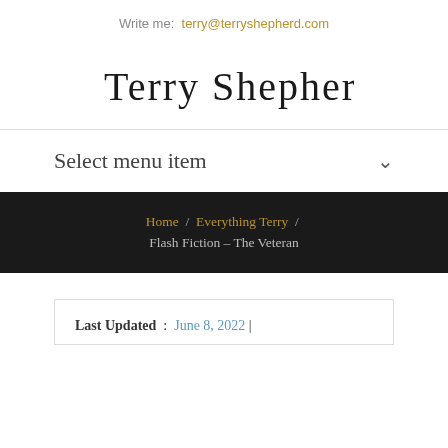Write me: terry@terryshepherd.com
Terry Shepherd
Select menu item
Home / Everything Terry / Flash Fiction – The Veteran
Last Updated : June 8, 2022 |